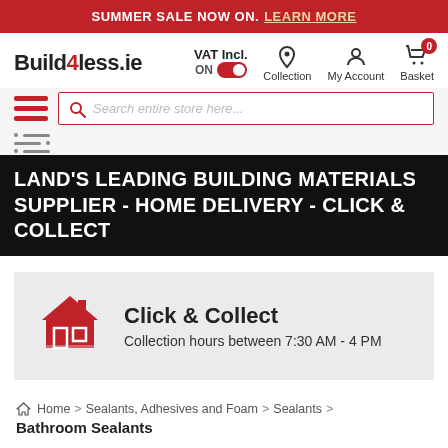SUMMER SALE NOW ON. LEARN MORE
[Figure (logo): Build4less.ie logo with red 4]
VAT Incl. ON (toggle on)
[Figure (infographic): Navigation icons: Collection (location pin), My Account (person), Basket (cart with 0 badge)]
[Figure (infographic): Hamburger menu icon (three red bars) and filter icon (three gray bars with dots)]
Search entire store here...
LAND'S LEADING BUILDING MATERIALS SUPPLIER - HOME DELIVERY - CLICK & COLLECT
[Figure (illustration): Red house/store icon for Click & Collect]
Click & Collect
Collection hours between 7:30 AM - 4 PM
Home > Sealants, Adhesives and Foam > Sealants >
Bathroom Sealants